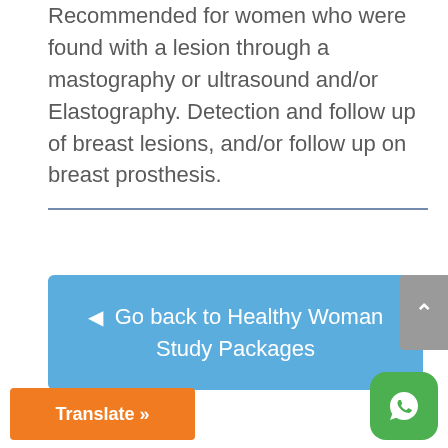Recommended for women who were found with a lesion through a mastography or ultrasound and/or Elastography. Detection and follow up of breast lesions, and/or follow up on breast prosthesis.
[Figure (other): Horizontal divider line in dark blue]
[Figure (other): Blue navigation button with left arrow: Go back to Healthy Woman Study Packages]
[Figure (other): Gray scroll-to-top button with upward chevron]
[Figure (other): WhatsApp icon button (green rounded square with phone handset icon)]
[Figure (other): Orange Translate button at bottom left]